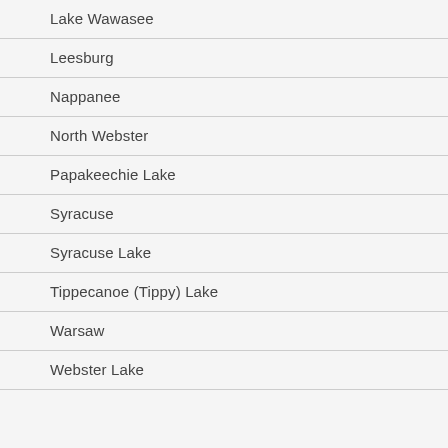Lake Wawasee
Leesburg
Nappanee
North Webster
Papakeechie Lake
Syracuse
Syracuse Lake
Tippecanoe (Tippy) Lake
Warsaw
Webster Lake